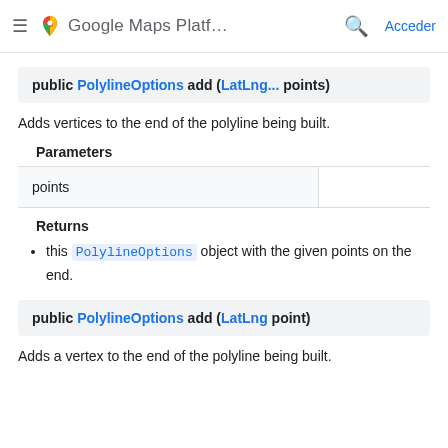Google Maps Platf... Acceder
public PolylineOptions add (LatLng... points)
Adds vertices to the end of the polyline being built.
Parameters
| points |  |
Returns
this PolylineOptions object with the given points on the end.
public PolylineOptions add (LatLng point)
Adds a vertex to the end of the polyline being built.